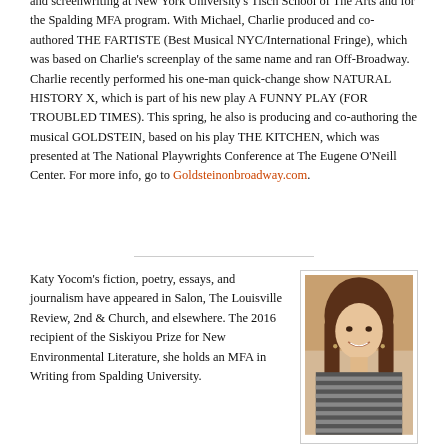and screenwriting at New York University's Tisch School of The Arts and for the Spalding MFA program. With Michael, Charlie produced and co-authored THE FARTISTE (Best Musical NYC/International Fringe), which was based on Charlie's screenplay of the same name and ran Off-Broadway. Charlie recently performed his one-man quick-change show NATURAL HISTORY X, which is part of his new play A FUNNY PLAY (FOR TROUBLED TIMES). This spring, he also is producing and co-authoring the musical GOLDSTEIN, based on his play THE KITCHEN, which was presented at The National Playwrights Conference at The Eugene O'Neill Center. For more info, go to Goldsteinonbroadway.com.
[Figure (photo): Portrait photo of Katy Yocom, a woman with long brown hair, smiling, wearing a striped top]
Katy Yocom's fiction, poetry, essays, and journalism have appeared in Salon, The Louisville Review, 2nd & Church, and elsewhere. The 2016 recipient of the Siskiyou Prize for New Environmental Literature, she holds an MFA in Writing from Spalding University.